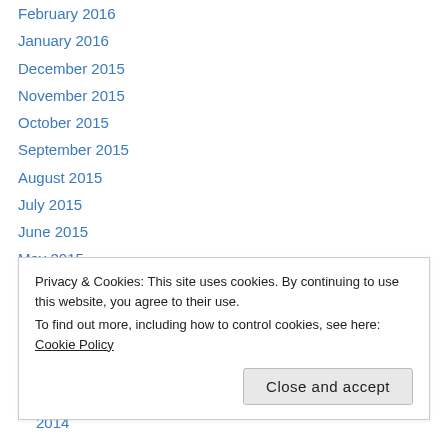February 2016
January 2016
December 2015
November 2015
October 2015
September 2015
August 2015
July 2015
June 2015
May 2015
April 2015
March 2015
February 2015
Privacy & Cookies: This site uses cookies. By continuing to use this website, you agree to their use. To find out more, including how to control cookies, see here: Cookie Policy
July 2014